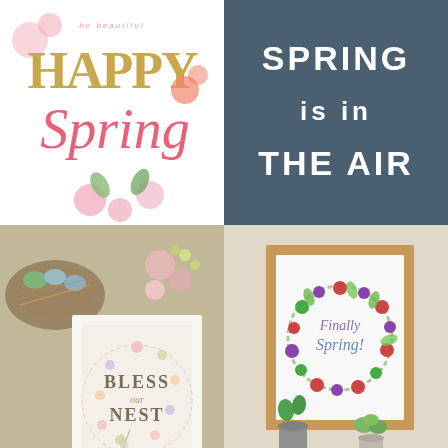[Figure (illustration): Colorful spring greeting with script text reading 'be happy HAPPY Spring' with floral decorations on white background]
[Figure (illustration): Dark blue/slate background with bold white text reading 'SPRING is in THE AIR']
[Figure (photo): Flat lay photo of spring nest scene with eggs, flowers, and card reading 'BLESS our NEST' with floral wreath]
[Figure (photo): Framed print leaning on shelf with potted plants reading 'Finally Spring!' surrounded by colorful flower wreath]
[Figure (illustration): Sage green background with italic white text defining 'nest: (n.) a place of retreat, rest, or lodging.']
[Figure (illustration): Colorful floral top border with bold black text 'LIVE LIFE be IN FULL' on white background, with scroll-to-top button]